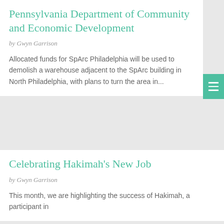Pennsylvania Department of Community and Economic Development
by Gwyn Garrison
Allocated funds for SpArc Philadelphia will be used to demolish a warehouse adjacent to the SpArc building in North Philadelphia, with plans to turn the area in...
Celebrating Hakimah's New Job
by Gwyn Garrison
This month, we are highlighting the success of Hakimah, a participant in